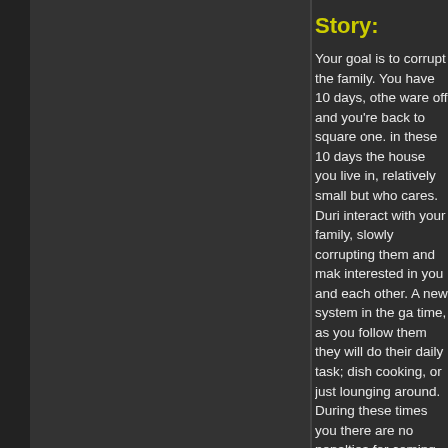Story:
Your goal is to corrupt the family. You have 10 days, othe ware off and you're back to square one. in these 10 days the house you live in, relatively small but who cares. Duri interact with your family, slowly corrupting them and mak interested in you and each other. A new system in the ga time, as you follow them they will do their daily task; dish cooking, or just lounging around. During these times you there are no penalties for coming off to strong, they just w for an hour, then through the magic of video games they'r forgot the whole thing. Touch them, seduce them and ge them hornier. But be careful, the hornier you make them seek relief. And if you don't jump to the chance they migh each other.
Gameplay:
Days would last 16 hours, NPCs would seemlessly move environments and do activites like I listed above. When y your magic starts to work on them, they'll start to act mor asking you to take a layer off or to give them a massage. and talk to them. On the 3rd or 4th day you can start touc without permission, making them feel hornier. As they be corrupted their activities will change. Claire might go to h masturbate and you can peek. Lara might start watching